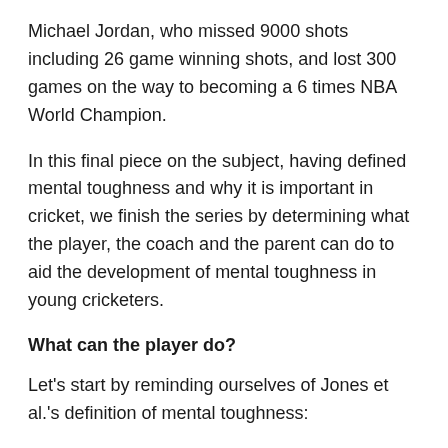Michael Jordan, who missed 9000 shots including 26 game winning shots, and lost 300 games on the way to becoming a 6 times NBA World Champion.
In this final piece on the subject, having defined mental toughness and why it is important in cricket, we finish the series by determining what the player, the coach and the parent can do to aid the development of mental toughness in young cricketers.
What can the player do?
Let's start by reminding ourselves of Jones et al.'s definition of mental toughness:
Definition: Mental toughness is having the natural or developed psychological edge that enables you to: